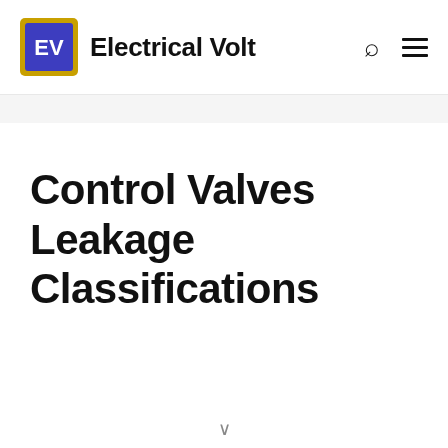Electrical Volt
Control Valves Leakage Classifications